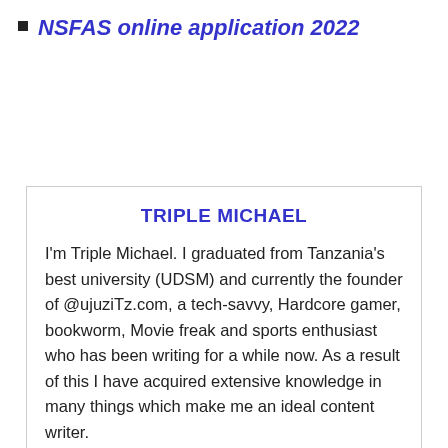NSFAS online application 2022
TRIPLE MICHAEL
I'm Triple Michael. I graduated from Tanzania's best university (UDSM) and currently the founder of @ujuziTz.com, a tech-savvy, Hardcore gamer, bookworm, Movie freak and sports enthusiast who has been writing for a while now. As a result of this I have acquired extensive knowledge in many things which make me an ideal content writer.